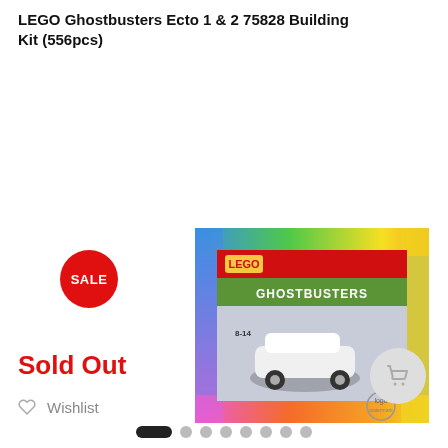LEGO Ghostbusters Ecto 1 & 2 75828 Building Kit (556pcs)
[Figure (photo): Product photo of LEGO Ghostbusters Ecto 1 & 2 75828 box with colorful rainbow border and logo watermark. Red SALE badge overlaid on left side.]
Sold Out
Wishlist